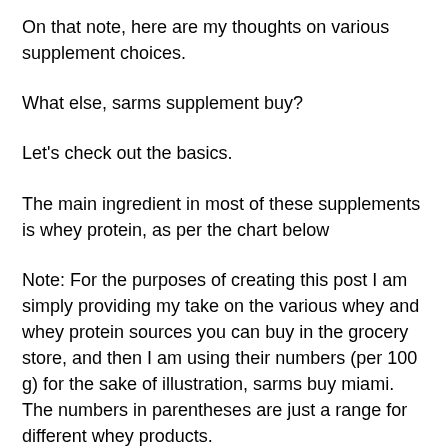maximize your gains and want to maintain your gains, then go for it!
On that note, here are my thoughts on various supplement choices.
What else, sarms supplement buy?
Let's check out the basics.
The main ingredient in most of these supplements is whey protein, as per the chart below
Note: For the purposes of creating this post I am simply providing my take on the various whey and whey protein sources you can buy in the grocery store, and then I am using their numbers (per 100 g) for the sake of illustration, sarms buy miami. The numbers in parentheses are just a range for different whey products.